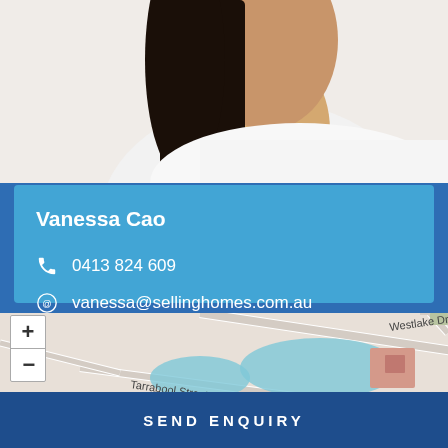[Figure (photo): Partial photo of a woman (Vanessa Cao) with dark hair and white shirt, cropped at the neck/shoulders]
Vanessa Cao
0413 824 609
vanessa@sellinghomes.com.au
[Figure (map): Street map showing Westlake Drive and Tarrabool Street with water features and zoom controls (+/-)]
SEND ENQUIRY